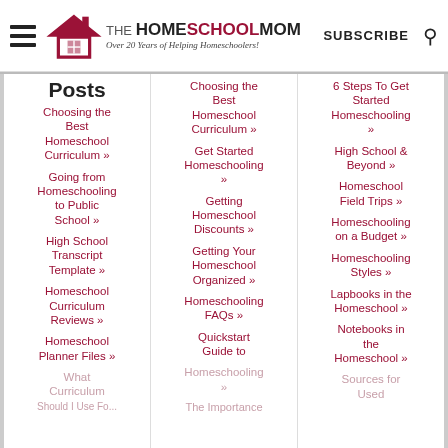THE HOMESCHOOL MOM — Over 20 Years of Helping Homeschoolers! SUBSCRIBE
Posts
Choosing the Best Homeschool Curriculum »
Going from Homeschooling to Public School »
High School Transcript Template »
Homeschool Curriculum Reviews »
Homeschool Planner Files »
Choosing the Best Homeschool Curriculum »
Get Started Homeschooling »
Getting Homeschool Discounts »
Getting Your Homeschool Organized »
Homeschooling FAQs »
Quickstart Guide to Homeschooling
6 Steps To Get Started Homeschooling »
High School & Beyond »
Homeschool Field Trips »
Homeschooling on a Budget »
Homeschooling Styles »
Lapbooks in the Homeschool »
Notebooks in the Homeschool »